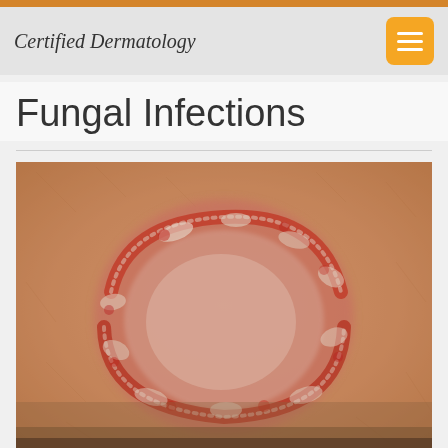Certified Dermatology
Fungal Infections
[Figure (photo): Close-up clinical photograph of a circular fungal skin infection (ringworm/tinea corporis) on skin, showing a red, scaly, ring-shaped lesion with raised edges and central clearing on a tan skin surface.]